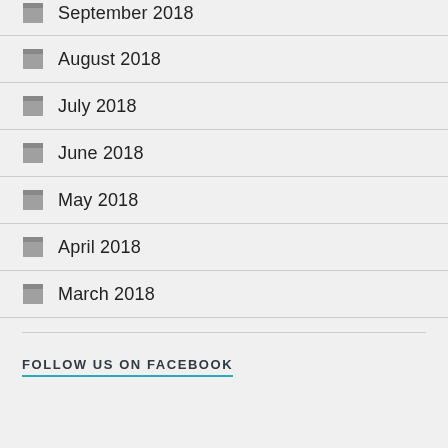September 2018
August 2018
July 2018
June 2018
May 2018
April 2018
March 2018
FOLLOW US ON FACEBOOK